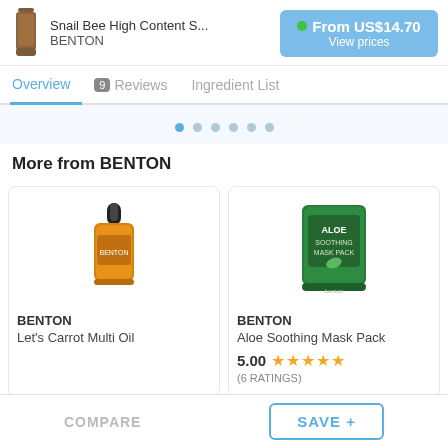Snail Bee High Content S... BENTON | From US$14.70 View prices
Overview | 9 Reviews | Ingredient List
[Figure (other): Carousel navigation dots (6 dots, first one highlighted in blue)]
More from BENTON
[Figure (photo): BENTON Let's Carrot Multi Oil product bottle (orange dropper bottle)]
BENTON
Let's Carrot Multi Oil
[Figure (photo): BENTON Aloe Soothing Mask Pack (green pouch)]
BENTON
Aloe Soothing Mask Pack
5.00 ★★★★★
(6 RATINGS)
COMPARE | SAVE +